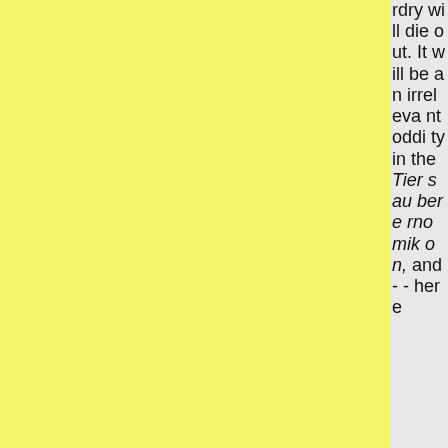rdry will die out. It will be an irrelevant oddity in the Tiersauberernomikon, and-- here